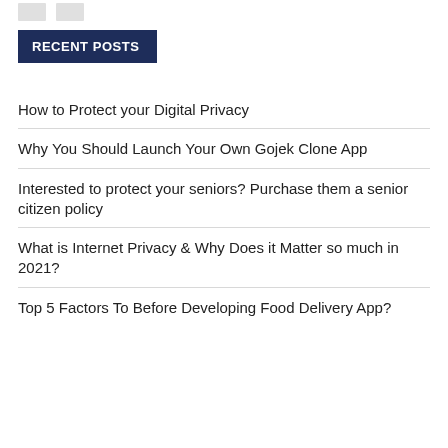RECENT POSTS
How to Protect your Digital Privacy
Why You Should Launch Your Own Gojek Clone App
Interested to protect your seniors? Purchase them a senior citizen policy
What is Internet Privacy & Why Does it Matter so much in 2021?
Top 5 Factors To Before Developing Food Delivery App?